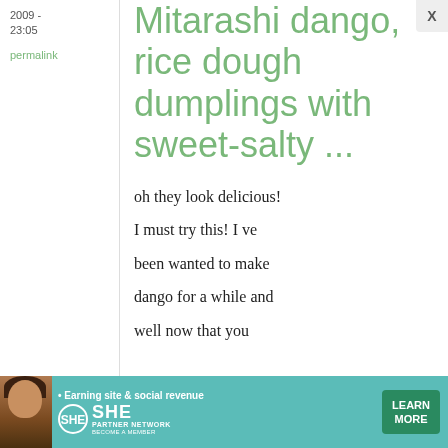2009 - 23:05
permalink
Mitarashi dango, rice dough dumplings with sweet-salty ...
oh they look delicious! I must try this! I ve been wanted to make dango for a while and well now that you
[Figure (screenshot): SHE Media advertisement banner: Earning site & social revenue, SHE Partner Network Become a Member, Learn More button]